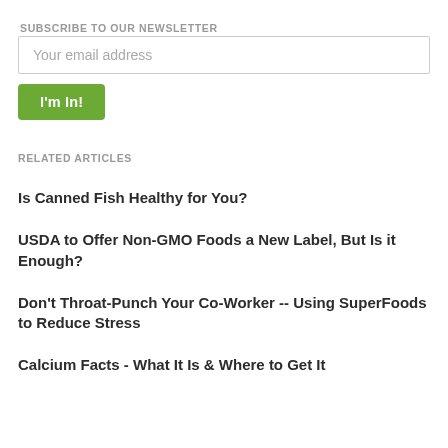SUBSCRIBE TO OUR NEWSLETTER
[Figure (screenshot): Email input field with placeholder text 'Your email address' and a green 'I'm In!' button below]
RELATED ARTICLES
Is Canned Fish Healthy for You?
USDA to Offer Non-GMO Foods a New Label, But Is it Enough?
Don't Throat-Punch Your Co-Worker -- Using SuperFoods to Reduce Stress
Calcium Facts - What It Is & Where to Get It